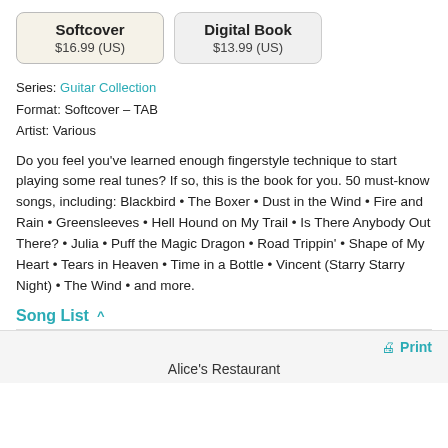Softcover $16.99 (US) | Digital Book $13.99 (US)
Series: Guitar Collection
Format: Softcover – TAB
Artist: Various
Do you feel you've learned enough fingerstyle technique to start playing some real tunes? If so, this is the book for you. 50 must-know songs, including: Blackbird • The Boxer • Dust in the Wind • Fire and Rain • Greensleeves • Hell Hound on My Trail • Is There Anybody Out There? • Julia • Puff the Magic Dragon • Road Trippin' • Shape of My Heart • Tears in Heaven • Time in a Bottle • Vincent (Starry Starry Night) • The Wind • and more.
Song List ∧
🖨 Print
Alice's Restaurant